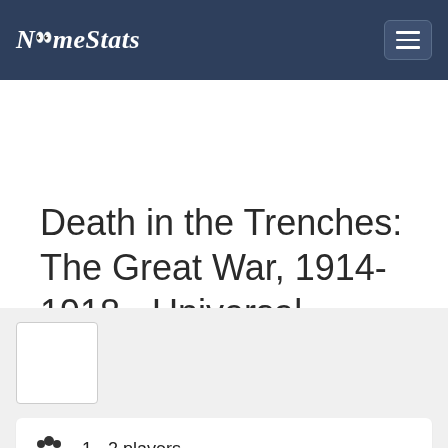NemeStats
Death in the Trenches: The Great War, 1914-1918 - Universal Statistics
Game Info
1 - 2 players
average 960 minutes